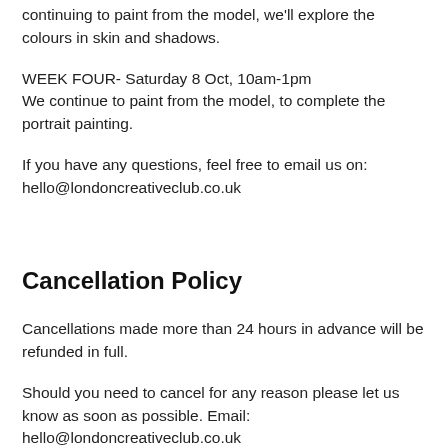continuing to paint from the model, we'll explore the colours in skin and shadows.
WEEK FOUR- Saturday 8 Oct, 10am-1pm
We continue to paint from the model, to complete the portrait painting.
If you have any questions, feel free to email us on:
hello@londoncreativeclub.co.uk
Cancellation Policy
Cancellations made more than 24 hours in advance will be refunded in full.
Should you need to cancel for any reason please let us know as soon as possible. Email: hello@londoncreativeclub.co.uk